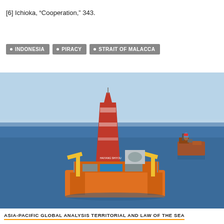[6] Ichioka, "Cooperation," 343.
INDONESIA
PIRACY
STRAIT OF MALACCA
[Figure (photo): Offshore oil drilling rig platform in open blue ocean with a support vessel visible in the background to the right.]
ASIA-PACIFIC GLOBAL ANALYSIS TERRITORIAL AND LAW OF THE SEA